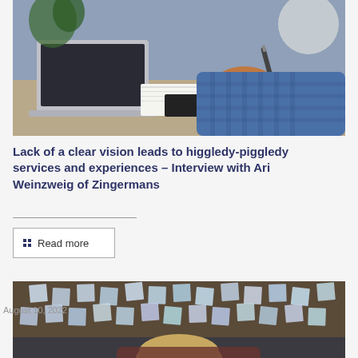[Figure (photo): A person in a blue checkered shirt writing in a notebook with a pen, with a laptop open in the background on a desk.]
Lack of a clear vision leads to higgledy-piggledy services and experiences – Interview with Ari Weinzweig of Zingermans
Read more
[Figure (photo): A bulletin board covered with sticky notes, with a person with blond hair visible in the lower portion of the image.]
August 10, 2022